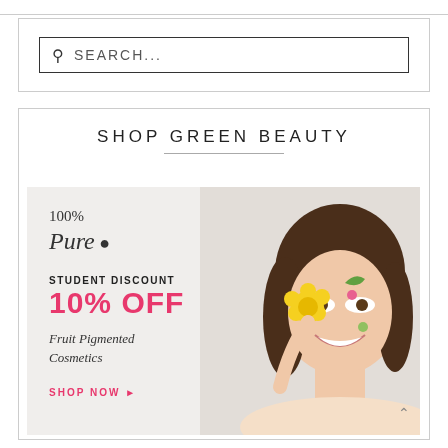[Figure (screenshot): Search bar with magnifying glass icon and placeholder text 'SEARCH...']
SHOP GREEN BEAUTY
[Figure (photo): Advertisement for 100% Pure cosmetics brand. Shows brand logo '100% Pure' with a leaf icon, text 'STUDENT DISCOUNT 10% OFF', 'Fruit Pigmented Cosmetics', 'SHOP NOW' button with arrow. Right side shows a smiling woman with flowers on her face holding a yellow flower over her eye.]